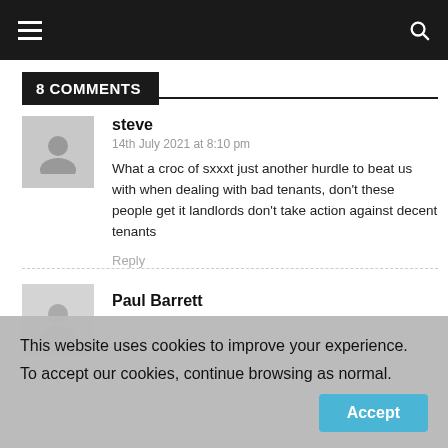Navigation bar with hamburger menu and search icon
8 COMMENTS
steve
14th July 2021 at 8:10 pm
What a croc of sxxxt just another hurdle to beat us with when dealing with bad tenants, don't these people get it landlords don't take action against decent tenants
Reply
Paul Barrett
This website uses cookies to improve your experience. To accept our cookies, continue browsing as normal. Accept